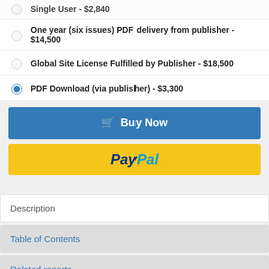Single User - $2,640 (partially visible at top)
One year (six issues) PDF delivery from publisher - $14,500
Global Site License Fulfilled by Publisher - $18,500
PDF Download (via publisher) - $3,300
Buy Now
[Figure (logo): PayPal button - yellow background with PayPal logo in blue]
Description
Table of Contents
Related reports